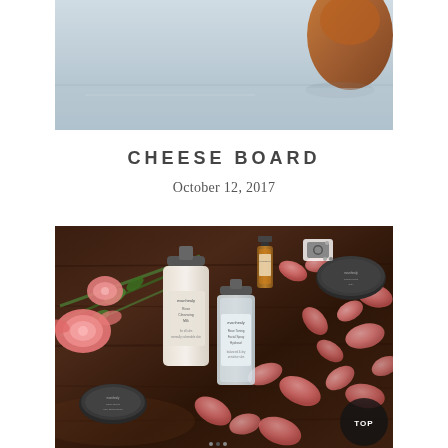[Figure (photo): Top portion of a photo showing a light-colored surface with an orange/brown object partially visible at the top right corner]
CHEESE BOARD
October 12, 2017
[Figure (photo): Flat lay photo on dark wood surface showing evanhealy skincare products including Rose Cleansing Milk bottle, Rose Toning Facial Spray/Hydrosol bottle, a small amber essential oil bottle, two round tin compacts, scattered pink rose petals and rose stems with blooms]